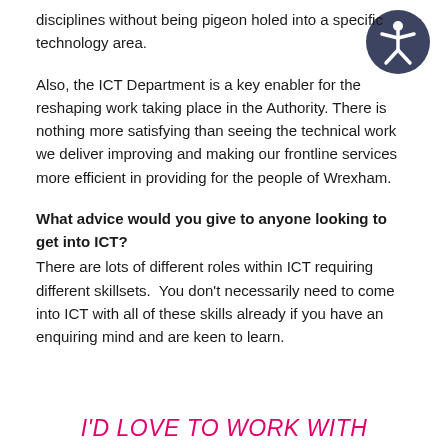disciplines without being pigeon holed into a specific technology area.
[Figure (illustration): Accessibility icon: a dark navy circle with a white stick figure person in an open/outstretched arms pose]
Also, the ICT Department is a key enabler for the reshaping work taking place in the Authority. There is nothing more satisfying than seeing the technical work we deliver improving and making our frontline services more efficient in providing for the people of Wrexham.
What advice would you give to anyone looking to get into ICT?
There are lots of different roles within ICT requiring different skillsets.  You don't necessarily need to come into ICT with all of these skills already if you have an enquiring mind and are keen to learn.
I'D LOVE TO WORK WITH